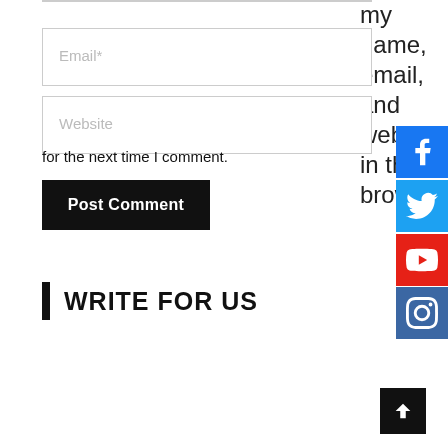my name, email, and website in this browser
[Figure (screenshot): Email input field with placeholder text 'Email*']
[Figure (screenshot): Website input field with placeholder text 'Website']
for the next time I comment.
[Figure (screenshot): Black 'Post Comment' button]
WRITE FOR US
[Figure (screenshot): Facebook social share button (blue with f icon)]
[Figure (screenshot): Twitter social share button (blue with bird icon)]
[Figure (screenshot): YouTube social share button (red with play icon)]
[Figure (screenshot): Instagram social share button (blue-grey with camera icon)]
[Figure (screenshot): Back to top button (black with upward arrow)]